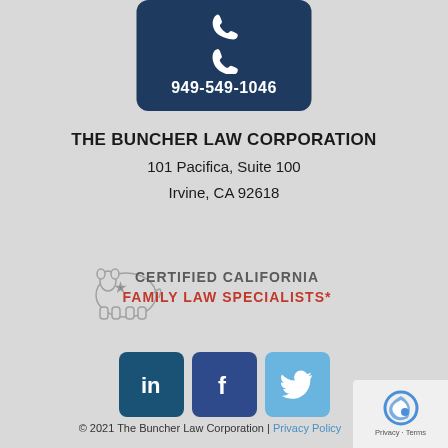[Figure (infographic): Dark navy rounded rectangle button with phone handset icon and phone number 949-549-1046 in white text]
THE BUNCHER LAW CORPORATION
101 Pacifica, Suite 100
Irvine, CA 92618
[Figure (logo): Certified California Family Law Specialists badge with California bear outline and text: CERTIFIED CALIFORNIA FAMILY LAW SPECIALISTS*]
[Figure (infographic): Three social media icons: LinkedIn (dark blue), Facebook (dark blue), Twitter (light blue)]
© 2021 The Buncher Law Corporation | Privacy Policy
[Figure (other): reCAPTCHA Privacy - Terms badge in bottom right corner]